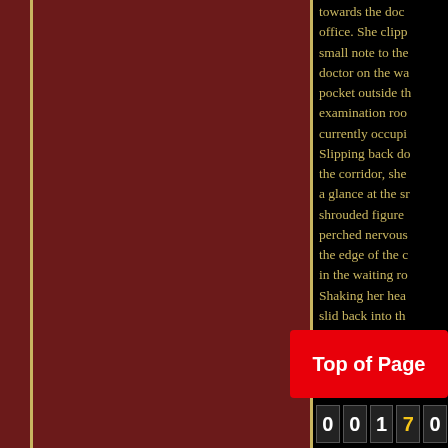towards the doctor's office. She clipped a small note to the doctor on the way to pocket outside the examination room currently occupied. Slipping back down the corridor, she stole a glance at the still-shrouded figure perched nervously on the edge of the chair in the waiting room. Shaking her head, she slid back into the chair behind her desk and tried to focus on filing some insurance forms instead of the lingering sense that something was awry.
Top of Page  00170